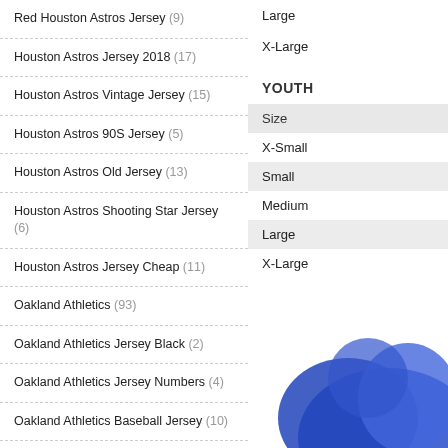Red Houston Astros Jersey (9)
Houston Astros Jersey 2018 (17)
Houston Astros Vintage Jersey (15)
Houston Astros 90S Jersey (5)
Houston Astros Old Jersey (13)
Houston Astros Shooting Star Jersey (6)
Houston Astros Jersey Cheap (11)
Oakland Athletics (93)
Oakland Athletics Jersey Black (2)
Oakland Athletics Jersey Numbers (4)
Oakland Athletics Baseball Jersey (10)
Oakland Athletics Cool Base Jersey (10)
Oakland Athletics Green Jersey (3)
Oakland Athletics Jersey (13)
Large
X-Large
YOUTH
| Size |
| --- |
| X-Small |
| Small |
| Medium |
| Large |
| X-Large |
[Figure (photo): Photo of a blue baseball jersey]